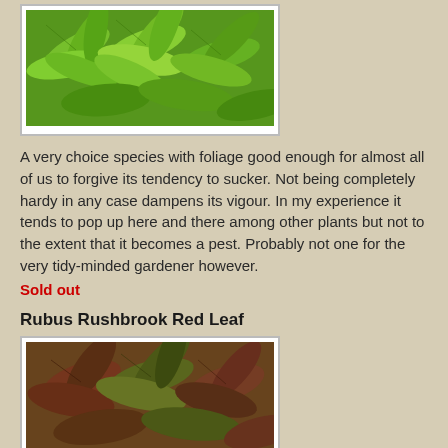[Figure (photo): Close-up photo of green palmate leaves of a plant, showing detailed leaf texture and structure]
A very choice species with foliage good enough for almost all of us to forgive its tendency to sucker. Not being completely hardy in any case dampens its vigour. In my experience it tends to pop up here and there among other plants but not to the extent that it becomes a pest. Probably not one for the very tidy-minded gardener however.
Sold out
Rubus Rushbrook Red Leaf
[Figure (photo): Close-up photo of red-tinged leaves of Rubus Rushbrook Red Leaf plant]